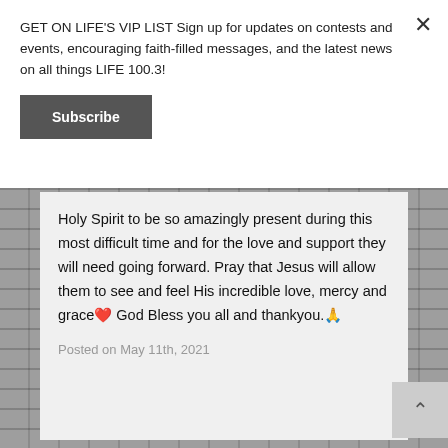GET ON LIFE'S VIP LIST Sign up for updates on contests and events, encouraging faith-filled messages, and the latest news on all things LIFE 100.3!
Subscribe
Holy Spirit to be so amazingly present during this most difficult time and for the love and support they will need going forward. Pray that Jesus will allow them to see and feel His incredible love, mercy and grace❤ God Bless you all and thankyou.🙏
Posted on May 11th, 2021